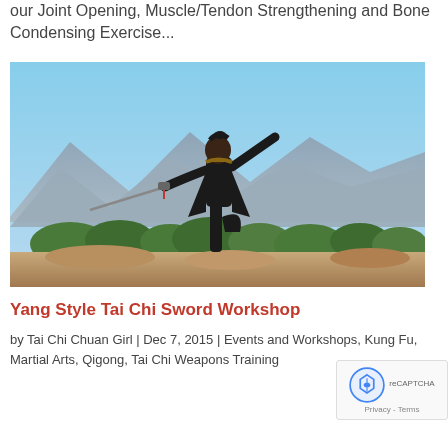our Joint Opening, Muscle/Tendon Strengthening and Bone Condensing Exercise...
[Figure (photo): Person dressed in black martial arts uniform performing a sword pose on a rocky outcrop with mountains and blue sky in the background]
Yang Style Tai Chi Sword Workshop
by Tai Chi Chuan Girl | Dec 7, 2015 | Events and Workshops, Kung Fu, Martial Arts, Qigong, Tai Chi Weapons Training